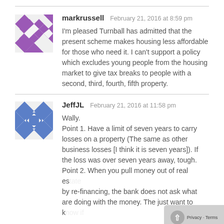markrussell   February 21, 2016 at 8:59 pm
I'm pleased Turnball has admitted that the present scheme makes housing less affordable for those who need it. I can't support a policy which excludes young people from the housing market to give tax breaks to people with a second, third, fourth, fifth property.
JeffJL   February 21, 2016 at 11:58 pm
Wally.
Point 1. Have a limit of seven years to carry losses on a property (The same as other business losses [I think it is seven years]). If the loss was over seven years away, tough.
Point 2. When you pull money out of real es... by re-financing, the bank does not ask what... are doing with the money. The just want to know if...